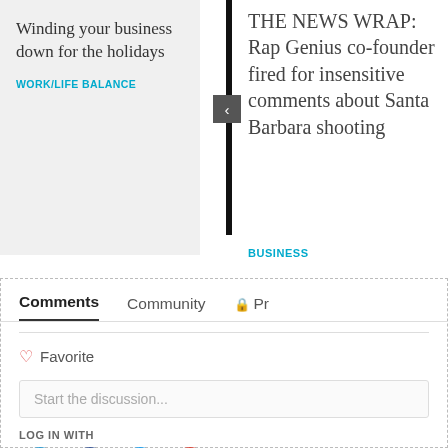Winding your business down for the holidays
WORK/LIFE BALANCE
THE NEWS WRAP: Rap Genius co-founder fired for insensitive comments about Santa Barbara shooting
BUSINESS
Comments	Community	Pr
Favorite
Start the discussion...
LOG IN WITH
OR SIGN UP WITH DISQUS